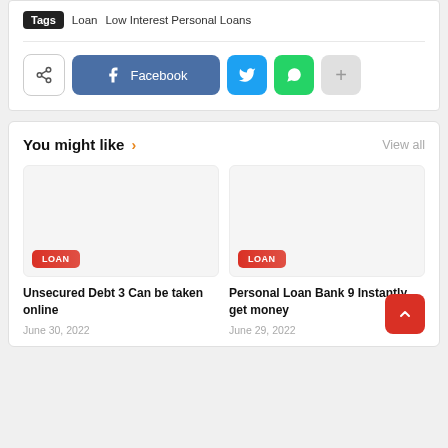Tags  Loan  Low Interest Personal Loans
[Figure (screenshot): Social sharing buttons: share icon, Facebook, Twitter, WhatsApp, plus]
You might like ›
View all
[Figure (photo): Blank image placeholder with LOAN badge]
Unsecured Debt 3 Can be taken online
June 30, 2022
[Figure (photo): Blank image placeholder with LOAN badge]
Personal Loan Bank 9 Instantly get money
June 29, 2022